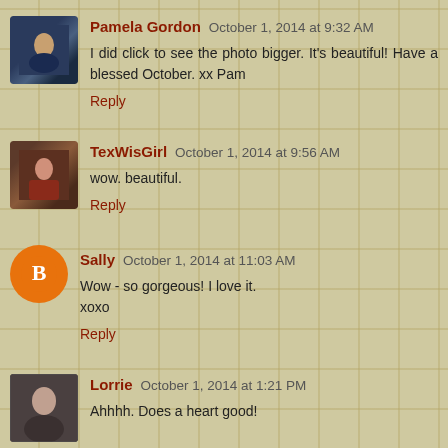Pamela Gordon October 1, 2014 at 9:32 AM — I did click to see the photo bigger. It's beautiful! Have a blessed October. xx Pam — Reply
TexWisGirl October 1, 2014 at 9:56 AM — wow. beautiful. — Reply
Sally October 1, 2014 at 11:03 AM — Wow - so gorgeous! I love it. xoxo — Reply
Lorrie October 1, 2014 at 1:21 PM — Ahhhh. Does a heart good!